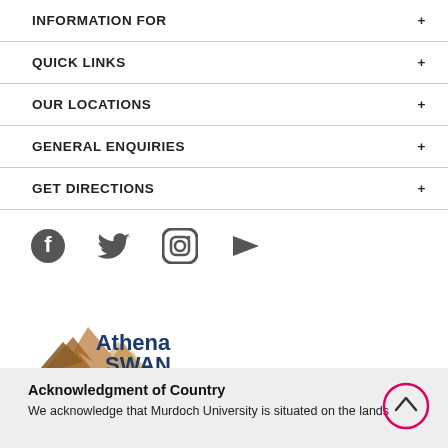INFORMATION FOR +
QUICK LINKS +
OUR LOCATIONS +
GENERAL ENQUIRIES +
GET DIRECTIONS +
[Figure (logo): Social media icons: Facebook, Twitter, Instagram, YouTube]
[Figure (logo): Athena SWAN Bronze Award logo]
Acknowledgment of Country
We acknowledge that Murdoch University is situated on the lands